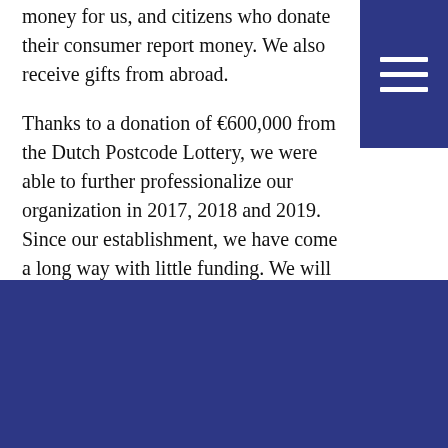money for us, and citizens who donate their consumer report money. We also receive gifts from abroad.
Thanks to a donation of €600,000 from the Dutch Postcode Lottery, we were able to further professionalize our organization in 2017, 2018 and 2019. Since our establishment, we have come a long way with little funding. We will always be frugal and think carefully about how we use the funds entrusted to us.